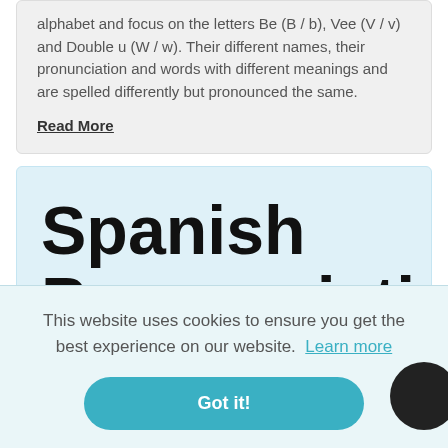alphabet and focus on the letters Be (B / b), Vee (V / v) and Double u (W / w). Their different names, their pronunciation and words with different meanings and are spelled differently but pronounced the same.
Read More
Spanish Pronunciation
This website uses cookies to ensure you get the best experience on our website. Learn more
Got it!